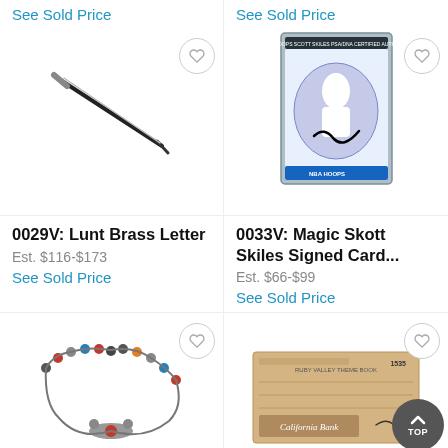See Sold Price
See Sold Price
[Figure (photo): A metal letter opener or pencil-like brass instrument on white background]
[Figure (photo): PSA/DNA authenticated Scott Skiles 1990 NBA Hoops signed basketball card in protective case]
0029V: Lunt Brass Letter
Est. $116-$173
See Sold Price
0033V: Magic Skott Skiles Signed Card...
Est. $66-$99
See Sold Price
[Figure (photo): Colorful beaded necklace with dark and multicolor pattern on white background]
[Figure (photo): Vintage California Bank check, yellowed paper with handwritten entries]